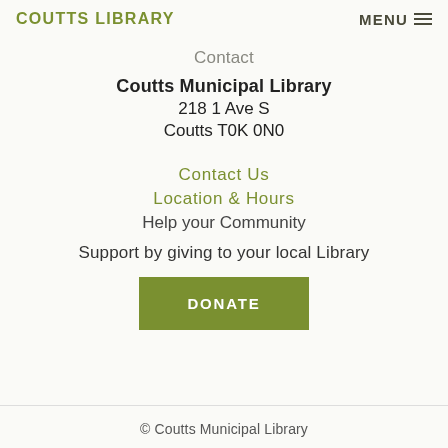COUTTS LIBRARY  MENU
Contact
Coutts Municipal Library
218 1 Ave S
Coutts T0K 0N0
Contact Us
Location & Hours
Help your Community
Support by giving to your local Library
[Figure (other): Green DONATE button]
© Coutts Municipal Library